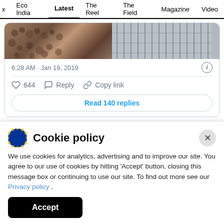x  Eco India  Latest  The Reel  The Field  Magazine  Video
[Figure (screenshot): Embedded tweet screenshot showing two images side by side (crowd photo and building/railing photo), timestamp '6:28 AM · Jan 19, 2019', info icon, heart icon with 644 likes, Reply button, Copy link button, and 'Read 140 replies' button]
12 pm: “The country is passing through an
Cookie policy
We use cookies for analytics, advertising and to improve our site. You agree to our use of cookies by hitting ‘Accept’ button, closing this message box or continuing to use our site. To find out more see our Privacy policy .
Accept